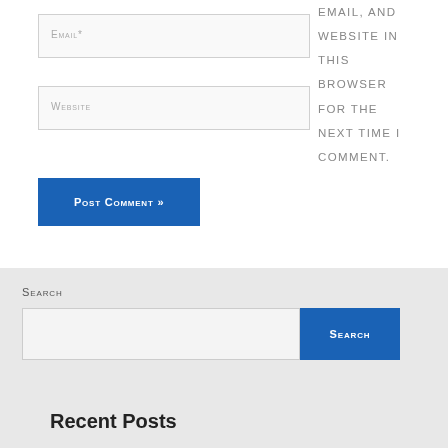Email*
Website
Post Comment »
email, and website in this browser for the next time I comment.
Search
Search
Recent Posts